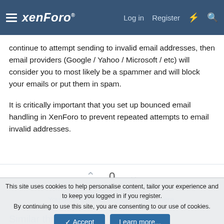XenForo — Log in | Register
continue to attempt sending to invalid email addresses, then email providers (Google / Yahoo / Microsoft / etc) will consider you to most likely be a spammer and will block your emails or put them in spam.
It is critically important that you set up bounced email handling in XenForo to prevent repeated attempts to email invalid addresses.
0
You must log in or register to reply here.
Similar threads
This site uses cookies to help personalise content, tailor your experience and to keep you logged in if you register.
By continuing to use this site, you are consenting to our use of cookies.
Accept
Learn more...